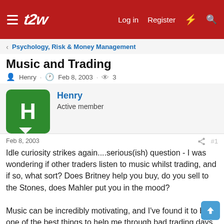t2w — Log in | Register
Psychology, Risk & Money Management
Music and Trading
Henry · Feb 8, 2003 · 3 views
Henry
Active member
Feb 8, 2003  #1
Idle curiosity strikes again....serious(ish) question - I was wondering if other traders listen to music whilst trading, and if so, what sort? Does Britney help you buy, do you sell to the Stones, does Mahler put you in the mood?

Music can be incredibly motivating, and I've found it to be one of the best things to help me through bad trading days, as well as keep me 'on the level' when things are going my way.